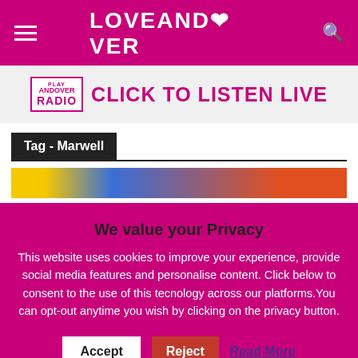LOVEANDOVER
[Figure (screenshot): Andover Radio banner with text CLICK TO LISTEN LIVE in pink on light grey background]
Tag - Marwell
[Figure (photo): Partial colourful image visible below the Tag - Marwell header, partially obscured by the privacy overlay]
We value your Privacy
This website uses cookies to improve your experience, provide social media features and personalise content. Click below to consent to the use of this tecnology across our platforms.You can opt-out anytime you wish by clicking on the privacy button.
Accept
Reject
Read More